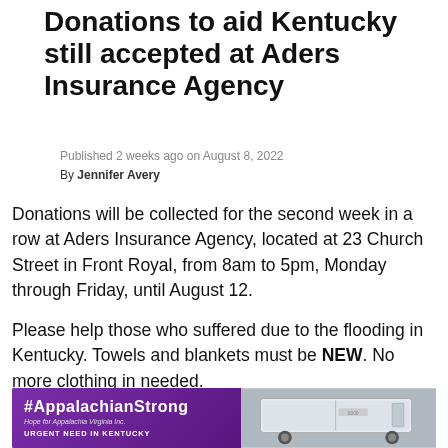Donations to aid Kentucky still accepted at Aders Insurance Agency
Published 2 weeks ago on August 8, 2022
By Jennifer Avery
Donations will be collected for the second week in a row at Aders Insurance Agency, located at 23 Church Street in Front Royal, from 8am to 5pm, Monday through Friday, until August 12.
Please help those who suffered due to the flooding in Kentucky. Towels and blankets must be NEW. No more clothing in needed.
[Figure (photo): #AppalachianStrong banner with Hope for Appalachia Virginia Inc. text, URGENT NEED IN KENTUCKY label, and a white trailer/truck visible on the right side]